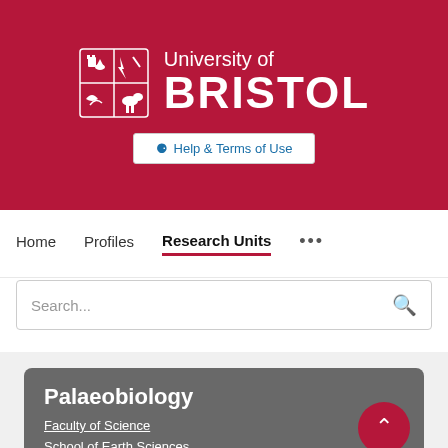[Figure (logo): University of Bristol crest logo — red shield with heraldic symbols in white, beside text 'University of BRISTOL' in white on red background]
Help & Terms of Use
Home   Profiles   Research Units   ...
Search...
Palaeobiology
Faculty of Science
School of Earth Sciences
Website